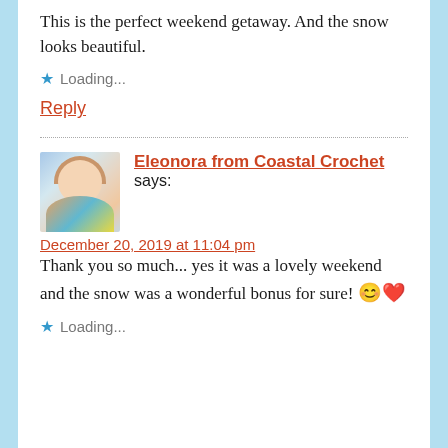This is the perfect weekend getaway. And the snow looks beautiful.
★ Loading...
Reply
[Figure (photo): Avatar photo of Eleonora from Coastal Crochet, a woman with light brown hair holding a colorful crochet item]
Eleonora from Coastal Crochet says:
December 20, 2019 at 11:04 pm
Thank you so much... yes it was a lovely weekend and the snow was a wonderful bonus for sure! 😊❤
★ Loading...